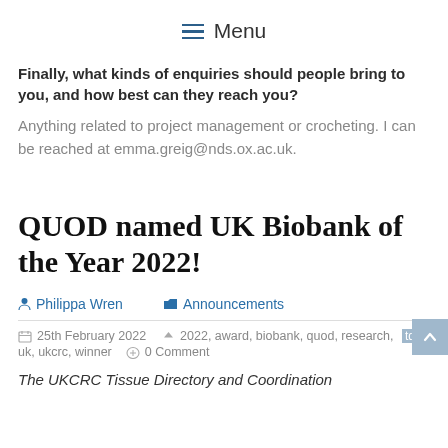Menu
Finally, what kinds of enquiries should people bring to you, and how best can they reach you?
Anything related to project management or crocheting. I can be reached at emma.greig@nds.ox.ac.uk.
QUOD named UK Biobank of the Year 2022!
Philippa Wren   Announcements
25th February 2022   2022, award, biobank, quod, research, tdcc, uk, ukcrc, winner   0 Comment
The UKCRC Tissue Directory and Coordination